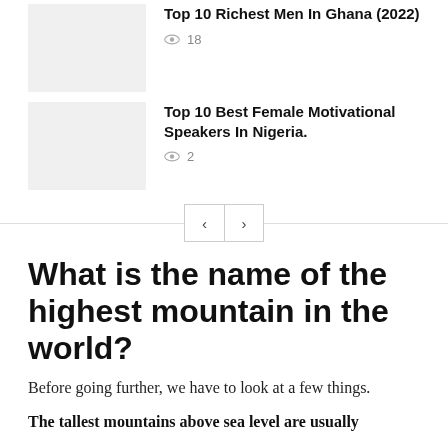[Figure (photo): Thumbnail image placeholder for 'Top 10 Richest Men In Ghana (2022)']
Top 10 Richest Men In Ghana (2022)
👁 18
[Figure (photo): Thumbnail image placeholder for 'Top 10 Best Female Motivational Speakers In Nigeria.']
Top 10 Best Female Motivational Speakers In Nigeria.
👁 2
What is the name of the highest mountain in the world?
Before going further, we have to look at a few things.
The tallest mountains above sea level are usually